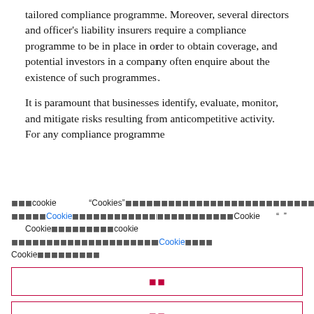tailored compliance programme. Moreover, several directors and officer's liability insurers require a compliance programme to be in place in order to obtain coverage, and potential investors in a company often enquire about the existence of such programmes.
It is paramount that businesses identify, evaluate, monitor, and mitigate risks resulting from anticompetitive activity. For any compliance programme
cookie 「」Cookies」 ... Cookie ... 「 」 Cookie cookie Cookie Cookie